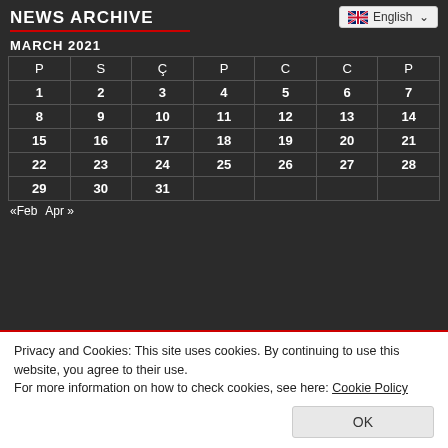NEWS ARCHIVE
English
MARCH 2021
| P | S | Ç | P | C | C | P |
| --- | --- | --- | --- | --- | --- | --- |
| 1 | 2 | 3 | 4 | 5 | 6 | 7 |
| 8 | 9 | 10 | 11 | 12 | 13 | 14 |
| 15 | 16 | 17 | 18 | 19 | 20 | 21 |
| 22 | 23 | 24 | 25 | 26 | 27 | 28 |
| 29 | 30 | 31 |  |  |  |  |
«Feb    Apr »
Privacy and Cookies: This site uses cookies. By continuing to use this website, you agree to their use.
For more information on how to check cookies, see here: Cookie Policy